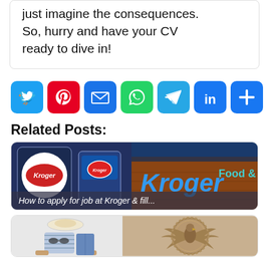just imagine the consequences. So, hurry and have your CV ready to dive in!
[Figure (infographic): Row of social media share icons: Twitter (blue), Pinterest (red), Email (blue), WhatsApp (green), Telegram (light blue), LinkedIn (blue), Share/Plus (blue)]
Related Posts:
[Figure (photo): Kroger store exterior with Kroger signage and logo, brick building, blue sky]
How to apply for job at Kroger & fill...
[Figure (photo): Two images side by side: left shows clothing and accessories flat lay, right shows bronze eagle relief medal/coin]